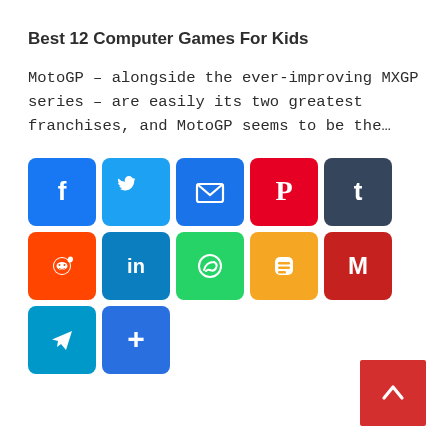Best 12 Computer Games For Kids
MotoGP – alongside the ever-improving MXGP series – are easily its two greatest franchises, and MotoGP seems to be the…
[Figure (infographic): Social media sharing buttons: Facebook, Twitter, Email, Pinterest, Tumblr, Reddit, LinkedIn, WhatsApp, Blogger, Gmail, Telegram, Share More]
[Figure (other): Red back-to-top button with upward chevron arrow in bottom right corner]